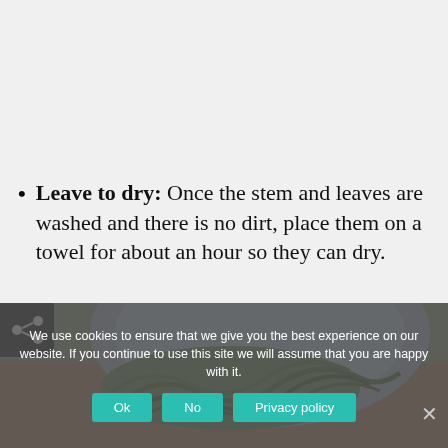Leave to dry: Once the stem and leaves are washed and there is no dirt, place them on a towel for about an hour so they can dry.
[Figure (photo): A photo of green bean sprouts/microgreens on a blue plate on a wooden surface, partially visible. A black share icon box is in the top-left corner of the image.]
We use cookies to ensure that we give you the best experience on our website. If you continue to use this site we will assume that you are happy with it.